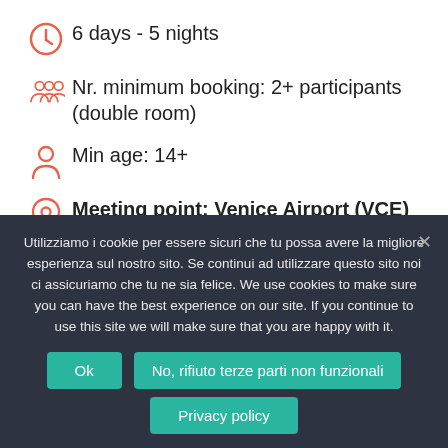6 days - 5 nights
Nr. minimum booking: 2+ participants (double room)
Min age: 14+
Meeting point: Venice Airport (VCE)
Utilizziamo i cookie per essere sicuri che tu possa avere la migliore esperienza sul nostro sito. Se continui ad utilizzare questo sito noi ci assicuriamo che tu ne sia felice. We use cookies to make sure you can have the best experience on our site. If you continue to use this site we will make sure that you are happy with it.
Ok
No, rifiuto terze parti non funzionali
Privacy policy